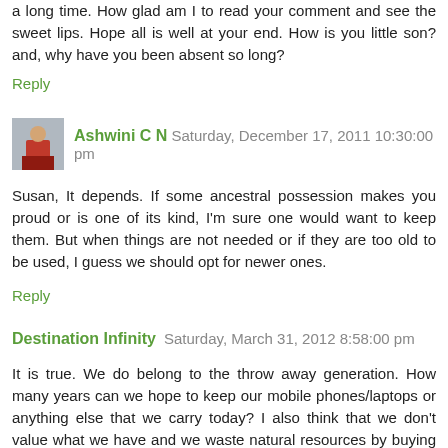a long time. How glad am I to read your comment and see the sweet lips. Hope all is well at your end. How is you little son? and, why have you been absent so long?
Reply
Ashwini C N  Saturday, December 17, 2011 10:30:00 pm
Susan, It depends. If some ancestral possession makes you proud or is one of its kind, I'm sure one would want to keep them. But when things are not needed or if they are too old to be used, I guess we should opt for newer ones.
Reply
Destination Infinity  Saturday, March 31, 2012 8:58:00 pm
It is true. We do belong to the throw away generation. How many years can we hope to keep our mobile phones/laptops or anything else that we carry today? I also think that we don't value what we have and we waste natural resources by buying more things that we don't need (to be thrown away after a short time). And then we spread